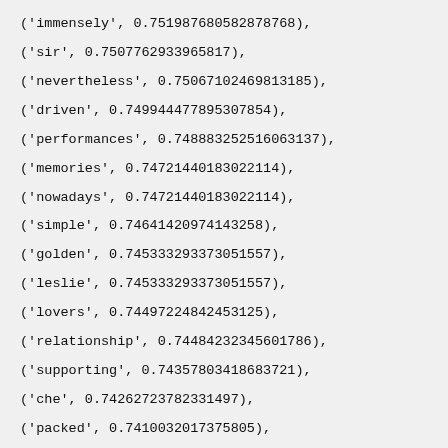('immensely', 0.751987680582878768),
('sir', 0.750776293396581​7),
('nevertheless', 0.750671024698131​85),
('driven', 0.749944778953078​54),
('performances', 0.748883252516063​137),
('memories', 0.747214401830221​14),
('nowadays', 0.747214401830221​14),
('simple', 0.746414209741432​58),
('golden', 0.745333293373051​557),
('leslie', 0.745333293373051​557),
('lovers', 0.744972248424531​25),
('relationship', 0.744842323456017​86),
('supporting', 0.743578034186837​21),
('che', 0.742627237823314​97),
('packed', 0.741003201737580​5),
('trek', 0.740214691417931​06),
('provoking', 0.738403772148066​18),
('strikes', 0.737598943130779​12),
('depiction', 0.736822244062606​99),
('emotional', 0.736782116456815​24),
('secretary', 0.736632292499684​2),